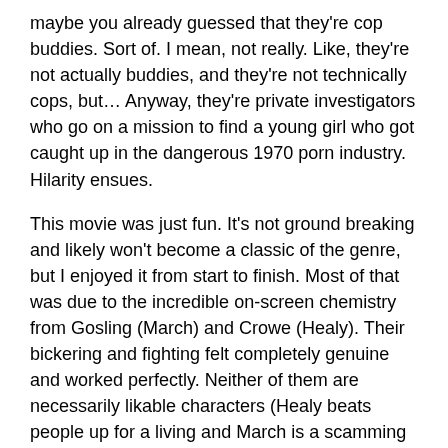maybe you already guessed that they're cop buddies. Sort of. I mean, not really. Like, they're not actually buddies, and they're not technically cops, but… Anyway, they're private investigators who go on a mission to find a young girl who got caught up in the dangerous 1970 porn industry. Hilarity ensues.
This movie was just fun. It's not ground breaking and likely won't become a classic of the genre, but I enjoyed it from start to finish. Most of that was due to the incredible on-screen chemistry from Gosling (March) and Crowe (Healy). Their bickering and fighting felt completely genuine and worked perfectly. Neither of them are necessarily likable characters (Healy beats people up for a living and March is a scamming alcoholic), but they play together so well that you can't help but love them. Yet they continue to surprise you as well. I wouldn't have been able to accurately predict the arcs of each character, but by the end it occurred to me that where they ended was very natural. They're also aided in their investigation by March's intelligent and